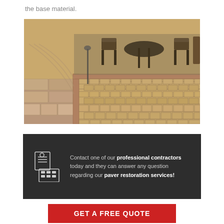the base material.
[Figure (photo): Photograph of a herringbone-pattern brick paver patio with stone steps, outdoor furniture including chairs and a table visible in the background, and a lamp post on the left.]
Contact one of our professional contractors today and they can answer any question regarding our paver restoration services!
GET A FREE QUOTE